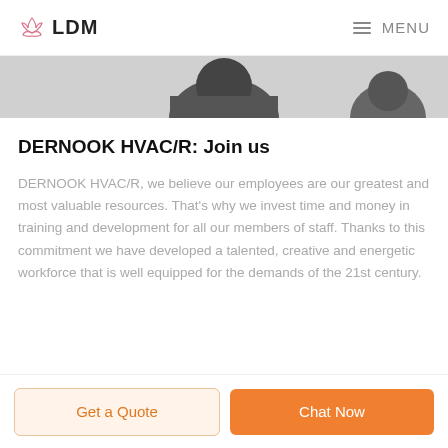LDM  MENU
[Figure (photo): Partial black and white photo strip showing people, cropped at top of content area]
DERNOOK HVAC/R: Join us
DERNOOK HVAC/R, we believe our employees are our greatest and most valuable resources. That's why we invest time and money in training and development for all our members of staff. Thanks to this commitment we have developed a talented, creative and energetic workforce that is well equipped for the demands of the 21st century.
Get a Quote
Chat Now